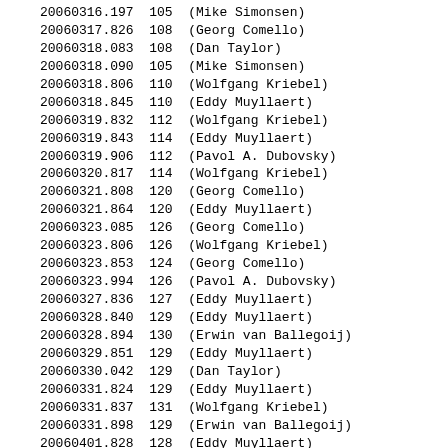| ID | Value | Name |
| --- | --- | --- |
| 20060316.197 | 105 | (Mike Simonsen) |
| 20060317.826 | 108 | (Georg Comello) |
| 20060318.083 | 108 | (Dan Taylor) |
| 20060318.090 | 105 | (Mike Simonsen) |
| 20060318.806 | 110 | (Wolfgang Kriebel) |
| 20060318.845 | 110 | (Eddy Muyllaert) |
| 20060319.832 | 112 | (Wolfgang Kriebel) |
| 20060319.843 | 114 | (Eddy Muyllaert) |
| 20060319.906 | 112 | (Pavol A. Dubovsky) |
| 20060320.817 | 114 | (Wolfgang Kriebel) |
| 20060321.808 | 120 | (Georg Comello) |
| 20060321.864 | 120 | (Eddy Muyllaert) |
| 20060323.085 | 126 | (Georg Comello) |
| 20060323.806 | 126 | (Wolfgang Kriebel) |
| 20060323.853 | 124 | (Georg Comello) |
| 20060323.994 | 126 | (Pavol A. Dubovsky) |
| 20060327.836 | 127 | (Eddy Muyllaert) |
| 20060328.840 | 129 | (Eddy Muyllaert) |
| 20060328.894 | 130 | (Erwin van Ballegoij) |
| 20060329.851 | 129 | (Eddy Muyllaert) |
| 20060330.042 | 129 | (Dan Taylor) |
| 20060331.824 | 129 | (Eddy Muyllaert) |
| 20060331.837 | 131 | (Wolfgang Kriebel) |
| 20060331.898 | 129 | (Erwin van Ballegoij) |
| 20060401.828 | 128 | (Eddy Muyllaert) |
| 20060401.889 | 129 | (Pavol A. Dubovsky) |
| 20060401.899 | 124 | (Erwin van Ballegoij) |
| 20060401.990 | 127 | (Gary Poyner) |
| 20060402.887 | 128 | (Eddy Muyllaert) |
| 20060403.830 | 130 | (Georg Comello) |
| 20060403.835 | 127 | (Eddy Muyllaert) |